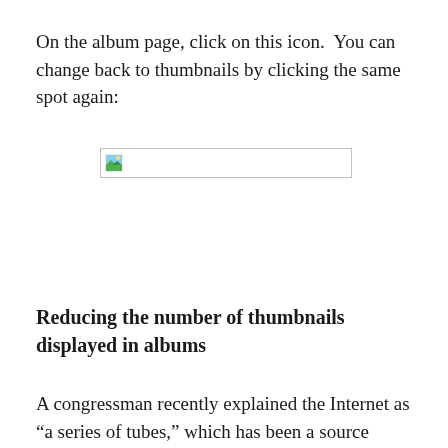On the album page, click on this icon.  You can change back to thumbnails by clicking the same spot again:
[Figure (screenshot): A broken image placeholder icon with a small landscape thumbnail icon on the left side, inside a rectangular box with a light gray border.]
Reducing the number of thumbnails displayed in albums
A congressman recently explained the Internet as “a series of tubes,” which has been a source